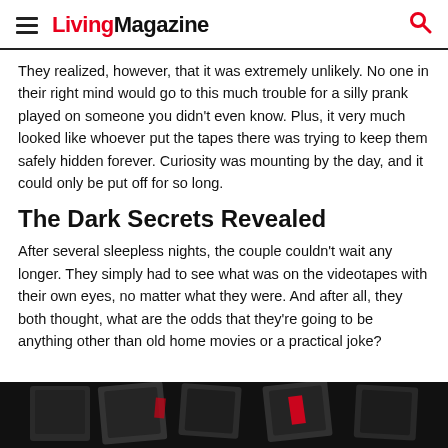LivingMagazine
They realized, however, that it was extremely unlikely. No one in their right mind would go to this much trouble for a silly prank played on someone you didn’t even know. Plus, it very much looked like whoever put the tapes there was trying to keep them safely hidden forever. Curiosity was mounting by the day, and it could only be put off for so long.
The Dark Secrets Revealed
After several sleepless nights, the couple couldn’t wait any longer. They simply had to see what was on the videotapes with their own eyes, no matter what they were. And after all, they both thought, what are the odds that they’re going to be anything other than old home movies or a practical joke?
[Figure (photo): Dark image of videotapes partially visible at the bottom of the page]